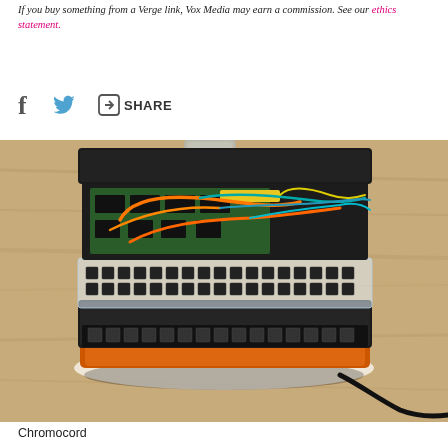If you buy something from a Verge link, Vox Media may earn a commission. See our ethics statement.
[Figure (other): Share bar with Facebook, Twitter, and share icons and SHARE text]
[Figure (photo): A Chromocord device — an open black box with colorful wires (orange, teal, yellow) and electronic components inside, sitting on a wooden table surface. A glass of water is partially visible in the background.]
Chromocord